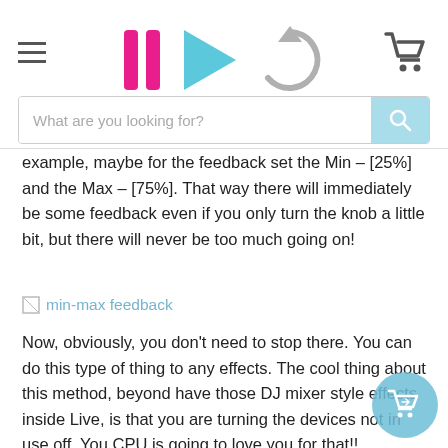Navigation bar with hamburger menu, pause/play/refresh icons, and shopping cart
example, maybe for the feedback set the Min – [25%] and the Max – [75%]. That way there will immediately be some feedback even if you only turn the knob a little bit, but there will never be too much going on!
[Figure (other): Broken image link labeled 'min-max feedback']
Now, obviously, you don't need to stop there. You can do this type of thing to any effects. The cool thing about this method, beyond have those DJ mixer style effects inside Live, is that you are turning the devices not in use off. You CPU is going to love you for that!!